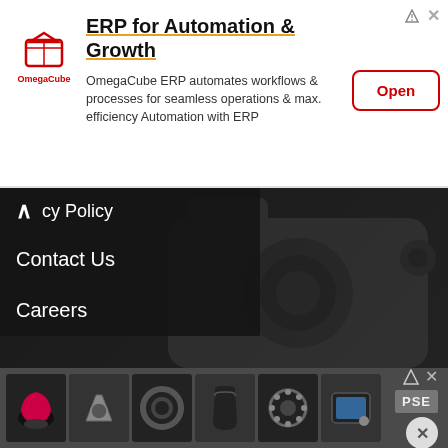[Figure (infographic): OmegaCube ERP advertisement banner with logo, title 'ERP for Automation & Growth', descriptive text, and Open button]
cy Policy
Contact Us
Careers
Must Read ▸
The Ultimate Star Trek Guide
The Definitive Marvel Movie Encyclopedia
Star Wars News
Dwayne Johnson News
Brie Larson News
[Figure (infographic): Bottom advertisement banner showing various product images including helmet, motorcycle parts, tire, jacket, brake disc, device, and PSE logo]